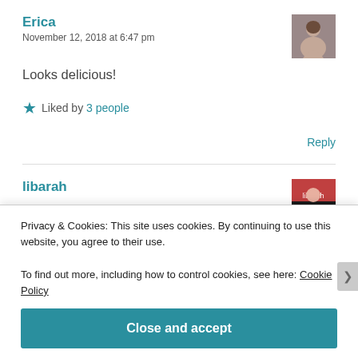Erica
November 12, 2018 at 6:47 pm
[Figure (photo): Avatar photo of commenter Erica, a woman with dark hair]
Looks delicious!
Liked by 3 people
Reply
libarah
[Figure (photo): Avatar photo of commenter libarah]
Privacy & Cookies: This site uses cookies. By continuing to use this website, you agree to their use.
To find out more, including how to control cookies, see here: Cookie Policy
Close and accept